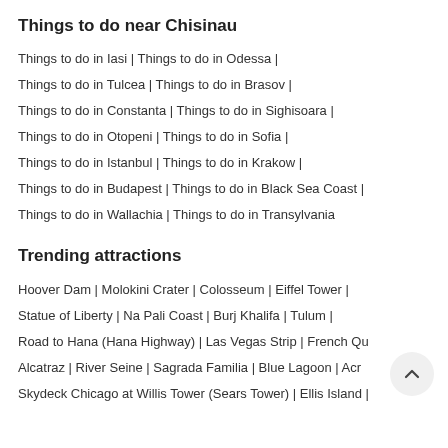Things to do near Chisinau
Things to do in Iasi | Things to do in Odessa | Things to do in Tulcea | Things to do in Brasov | Things to do in Constanta | Things to do in Sighisoara | Things to do in Otopeni | Things to do in Sofia | Things to do in Istanbul | Things to do in Krakow | Things to do in Budapest | Things to do in Black Sea Coast | Things to do in Wallachia | Things to do in Transylvania
Trending attractions
Hoover Dam | Molokini Crater | Colosseum | Eiffel Tower | Statue of Liberty | Na Pali Coast | Burj Khalifa | Tulum | Road to Hana (Hana Highway) | Las Vegas Strip | French Qu Alcatraz | River Seine | Sagrada Familia | Blue Lagoon | Acr Skydeck Chicago at Willis Tower (Sears Tower) | Ellis Island |